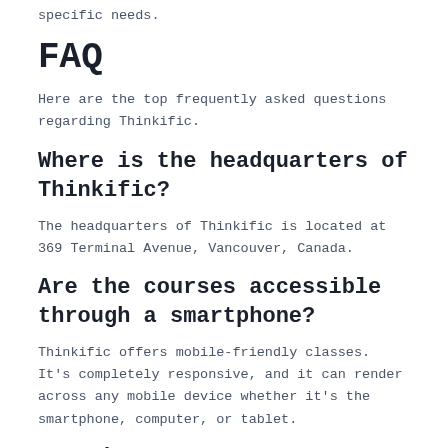specific needs.
FAQ
Here are the top frequently asked questions regarding Thinkific.
Where is the headquarters of Thinkific?
The headquarters of Thinkific is located at 369 Terminal Avenue, Vancouver, Canada.
Are the courses accessible through a smartphone?
Thinkific offers mobile-friendly classes. It's completely responsive, and it can render across any mobile device whether it's the smartphone, computer, or tablet.
Are the...